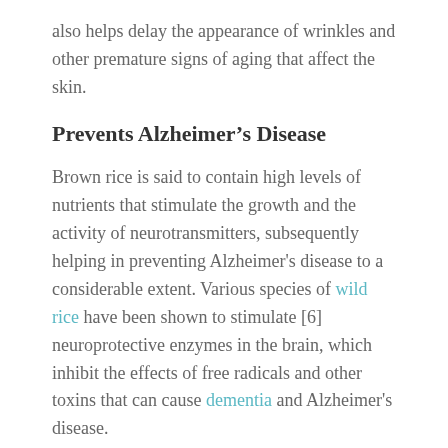also helps delay the appearance of wrinkles and other premature signs of aging that affect the skin.
Prevents Alzheimer's Disease
Brown rice is said to contain high levels of nutrients that stimulate the growth and the activity of neurotransmitters, subsequently helping in preventing Alzheimer's disease to a considerable extent. Various species of wild rice have been shown to stimulate [6] neuroprotective enzymes in the brain, which inhibit the effects of free radicals and other toxins that can cause dementia and Alzheimer's disease.
Diuretic & Digestive Qualities